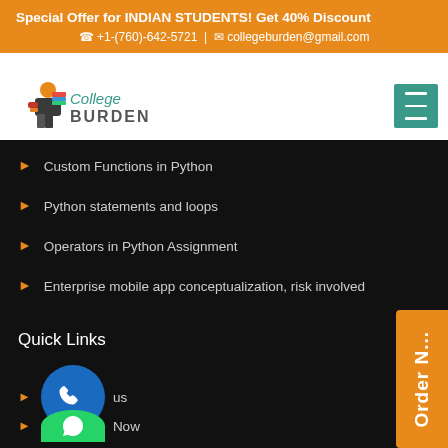Special Offer for INDIAN STUDENTS! Get 40% Discount
+1-(760)-642-5721 | collegeburden@gmail.com
[Figure (logo): College Burden logo with student carrying books and teal/orange text]
Custom Functions in Python
Python statements and loops
Operators in Python Assignment
Enterprise mobile app conceptualization, risk involved
Quick Links
Contact us
Order Now